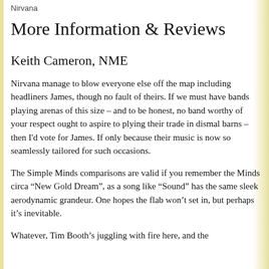Nirvana
More Information & Reviews
Keith Cameron, NME
Nirvana manage to blow everyone else off the map including headliners James, though no fault of theirs. If we must have bands playing arenas of this size – and to be honest, no band worthy of your respect ought to aspire to plying their trade in dismal barns – then I'd vote for James. If only because their music is now so seamlessly tailored for such occasions.
The Simple Minds comparisons are valid if you remember the Minds circa “New Gold Dream”, as a song like “Sound” has the same sleek aerodynamic grandeur. One hopes the flab won’t set in, but perhaps it’s inevitable.
Whatever, Tim Booth’s juggling with fire here, and the